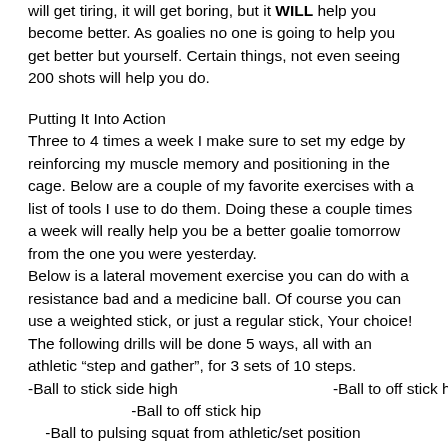will get tiring, it will get boring, but it WILL help you become better. As goalies no one is going to help you get better but yourself. Certain things, not even seeing 200 shots will help you do.
Putting It Into Action
Three to 4 times a week I make sure to set my edge by reinforcing my muscle memory and positioning in the cage. Below are a couple of my favorite exercises with a list of tools I use to do them. Doing these a couple times a week will really help you be a better goalie tomorrow from the one you were yesterday.
Below is a lateral movement exercise you can do with a resistance bad and a medicine ball. Of course you can use a weighted stick, or just a regular stick, Your choice!
The following drills will be done 5 ways, all with an athletic “step and gather”, for 3 sets of 10 steps.
-Ball to stick side high                                    -Ball to off stick high                              -Ball to stick side hip
-Ball to off stick hip
-Ball to pulsing squat from athletic/set position
First, Use your Resistance Band, and place it around your legs,